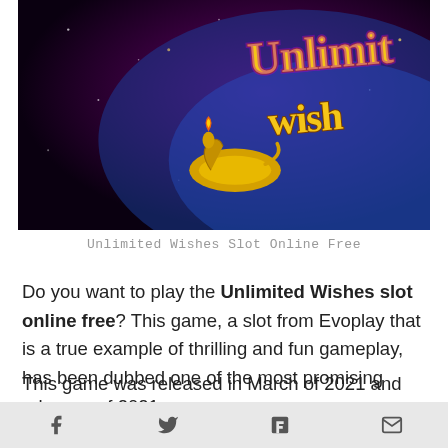[Figure (screenshot): Promotional banner image for Unlimited Wishes slot game with dark purple/black background and gold stylized text reading 'Unlimited Wish...' with a genie lamp graphic]
Unlimited Wishes Slot Online Free
Do you want to play the Unlimited Wishes slot online free? This game, a slot from Evoplay that is a true example of thrilling and fun gameplay, has been dubbed one of the most promising releases of 2021.
This game was released in March of 2021 and uses cutting-edge technology. As a result, Unlimited Wishes is compatible with all desktop, tablet, and mobile platforms.
Social share icons: Facebook, Twitter, Flipboard, Email